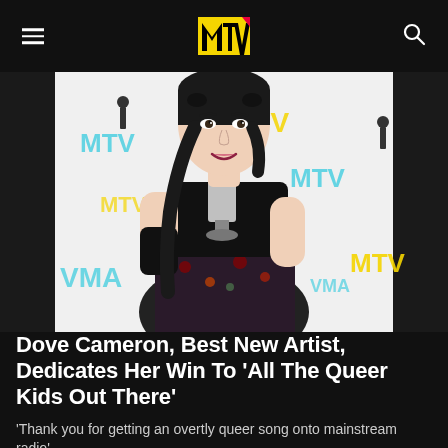MTV
[Figure (photo): Dove Cameron holding a silver MTV VMA award trophy, standing in front of a VMA/MTV branded step-and-repeat backdrop. She has long dark hair in twin braids, wearing a black strapless corset top and a floral skirt.]
Dove Cameron, Best New Artist, Dedicates Her Win To 'All The Queer Kids Out There'
'Thank you for getting an overtly queer song onto mainstream radio'